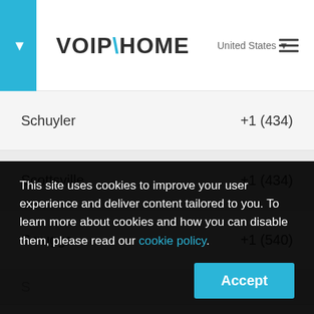VOIP\HOME — United States
| City | Code |
| --- | --- |
| Schuyler | +1 (434) |
| Scottsville | +1 (434) |
| Scruggs | +1 (540) |
| (partial row) | +1 (...) |
This site uses cookies to improve your user experience and deliver content tailored to you. To learn more about cookies and how you can disable them, please read our cookie policy.